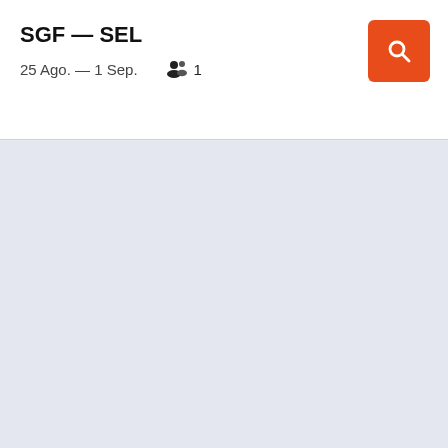SGF — SEL
25 Ago. — 1 Sep.   👥 1
[Figure (other): Orange search button with magnifying glass icon in top-right corner of header]
[Figure (other): Light gray-blue empty content area below header]